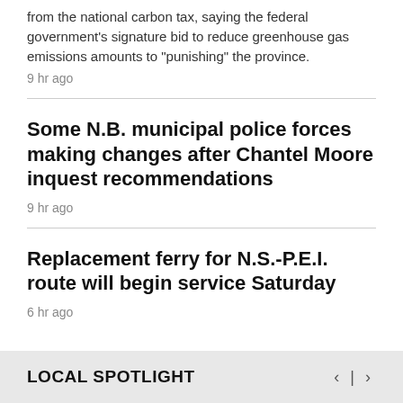from the national carbon tax, saying the federal government's signature bid to reduce greenhouse gas emissions amounts to "punishing" the province.
9 hr ago
Some N.B. municipal police forces making changes after Chantel Moore inquest recommendations
9 hr ago
Replacement ferry for N.S.-P.E.I. route will begin service Saturday
6 hr ago
LOCAL SPOTLIGHT